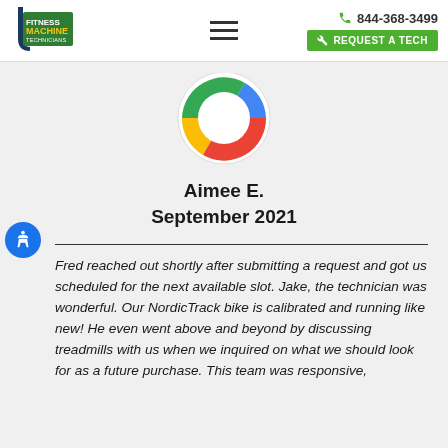Fitness Machine Technicians — 844-368-3499 — REQUEST A TECH
[Figure (logo): Fitness Machine Technicians logo — shield shape with wrench, green and dark blue]
[Figure (illustration): Partial Google G logo donut chart icon — yellow, green, blue segments in a circle]
Aimee E.
September 2021
Fred reached out shortly after submitting a request and got us scheduled for the next available slot. Jake, the technician was wonderful. Our NordicTrack bike is calibrated and running like new! He even went above and beyond by discussing treadmills with us when we inquired on what we should look for as a future purchase. This team was responsive,